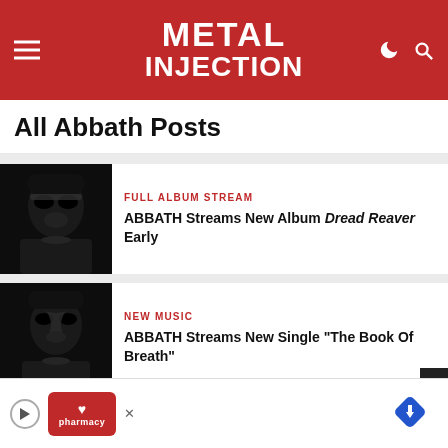Metal Injection
All Abbath Posts
[Figure (photo): Black and white photo of Abbath in corpse paint and armor]
FULL ALBUM STREAM
ABBATH Streams New Album Dread Reaver Early
[Figure (photo): Black and white photo of Abbath in corpse paint]
NEW MUSIC
ABBATH Streams New Single "The Book Of Breath"
[Figure (photo): Black and white photo of Abbath partially visible]
ounce